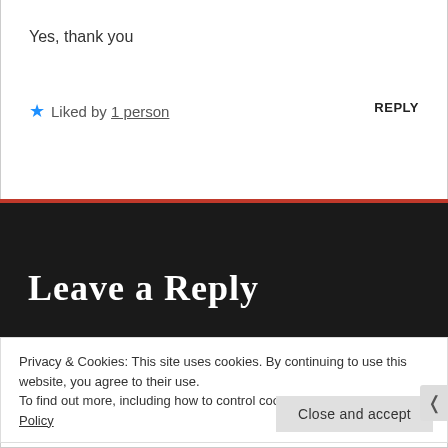Yes, thank you
★ Liked by 1 person   REPLY
Leave a Reply
Your email address will not be published. Required fields are marked *
Comment *
Privacy & Cookies: This site uses cookies. By continuing to use this website, you agree to their use.
To find out more, including how to control cookies, see here: Cookie Policy
Close and accept